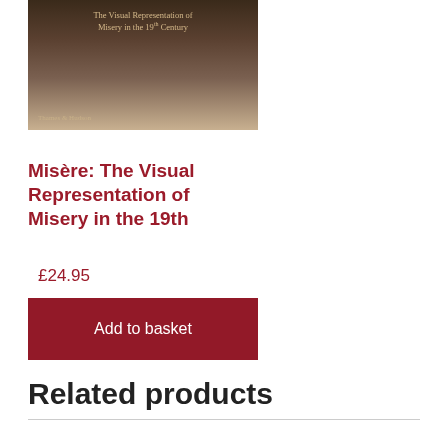[Figure (photo): Book cover of 'Misère: The Visual Representation of Misery in the 19th Century' published by Thames & Hudson, with dark brown toned imagery]
Misère: The Visual Representation of Misery in the 19th
£24.95
Add to basket
Related products